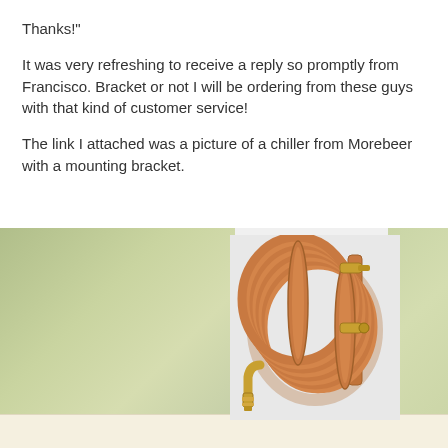Thanks!"
It was very refreshing to receive a reply so promptly from Francisco. Bracket or not I will be ordering from these guys with that kind of customer service!
The link I attached was a picture of a chiller from Morebeer with a mounting bracket.
[Figure (photo): A copper wort chiller coil with mounting bracket, photographed against a light grey background. The coil is cylindrical, made of copper tubing with brass fittings.]